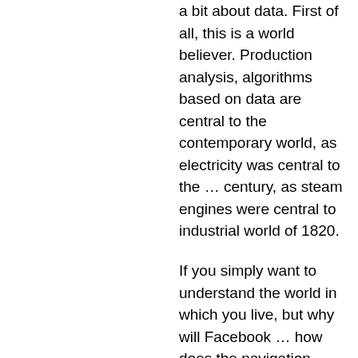a bit about data. First of all, this is a world believer. Production analysis, algorithms based on data are central to the contemporary world, as electricity was central to the … century, as steam engines were central to industrial world of 1820.
If you simply want to understand the world in which you live, but why will Facebook … how does the navigation system in my car work? You should basically have some computer…